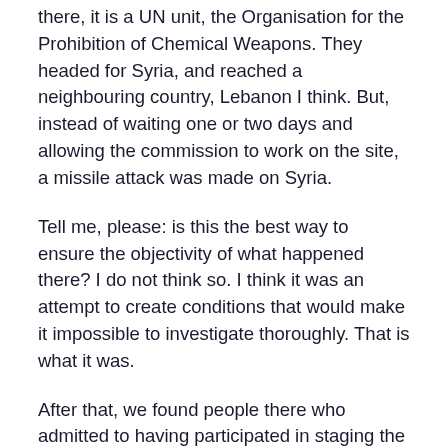there, it is a UN unit, the Organisation for the Prohibition of Chemical Weapons. They headed for Syria, and reached a neighbouring country, Lebanon I think. But, instead of waiting one or two days and allowing the commission to work on the site, a missile attack was made on Syria.
Tell me, please: is this the best way to ensure the objectivity of what happened there? I do not think so. I think it was an attempt to create conditions that would make it impossible to investigate thoroughly. That is what it was.
After that, we found people there who admitted to having participated in staging the chemical attack. If you did not see it, it would be very useful for objectivity, so that your viewers could have their own opinion on this matter.
We found children and their parents who were drenched in water and who said they did not understand what was happening. We brought them to The Hague to show everyone. Nobody wanted to listen to them. And after that you tell me: